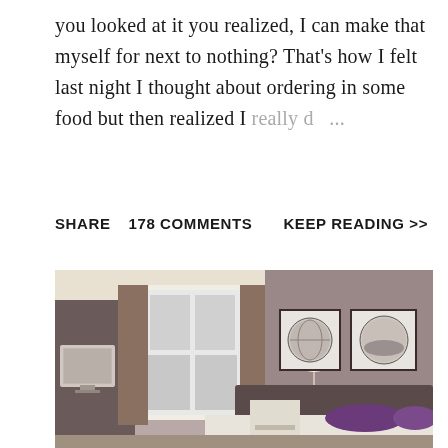you looked at it you realized, I can make that myself for next to nothing? That's how I felt last night I thought about ordering in some food but then realized I really d… ...
SHARE    178 COMMENTS    KEEP READING >>
[Figure (photo): Interior photo of a hotel bedroom with mauve/purple walls, large window with curtains, a bed with purple pillows, a floor lamp, TV on the left wall, and two framed circular artworks above the headboard.]